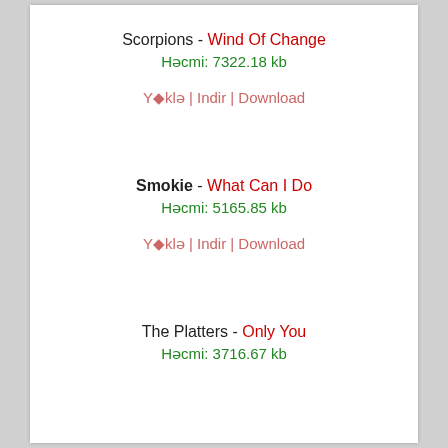Scorpions - Wind Of Change
Həcmi: 7322.18 kb
Y◆klə | Indir | Download
Smokie - What Can I Do
Həcmi: 5165.85 kb
Y◆klə | Indir | Download
The Platters - Only You
Həcmi: 3716.67 kb